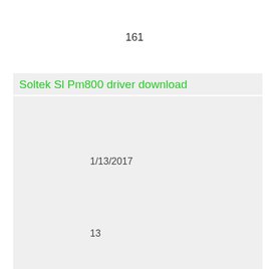161
Soltek Sl Pm800 driver download
1/13/2017
13
Available
579